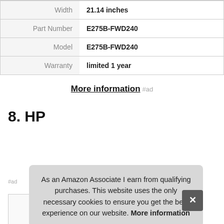|  |  |
| --- | --- |
| Width | 21.14 inches |
| Part Number | E275B-FWD240 |
| Model | E275B-FWD240 |
| Warranty | limited 1 year |
More information #ad
8. HP
As an Amazon Associate I earn from qualifying purchases. This website uses the only necessary cookies to ensure you get the best experience on our website. More information